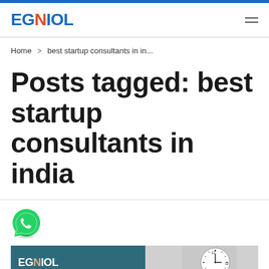EGNIOL
Home > best startup consultants in in...
Posts tagged: best startup consultants in india
[Figure (logo): WhatsApp green circle icon with white phone handset]
[Figure (other): Two card thumbnails: left card shows EGNIOL logo on dark teal background; right card shows a clock face]